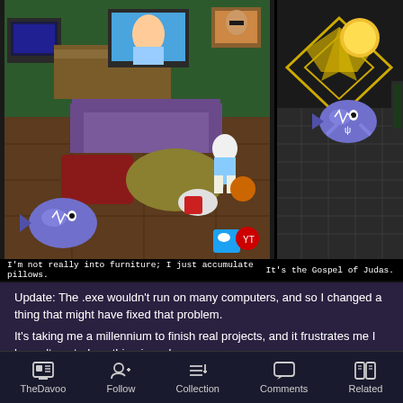[Figure (screenshot): Two side-by-side game screenshots. Left: a top-down RPG-style game room scene with pixel-art characters, furniture (TV, couch, pillows), and social media icons on the floor. A blue whale-like mascot is visible lower left. Right: a darker scene with a yellow sun/circle, purple whale character, and gold diamond pattern.]
I'm not really into furniture; I just accumulate pillows.
It's the Gospel of Judas.
Update: The .exe wouldn't run on many computers, and so I changed a thing that might have fixed that problem.
It's taking me a millennium to finish real projects, and it frustrates me I haven't posted anything in so long.
Now, I used to be a Youtuber. And what do Youtubers do when they can't/won't make real content? They make vlogs. They just basically scoop up a slice of their life and
TheDavoo   Follow   Collection   Comments   Related